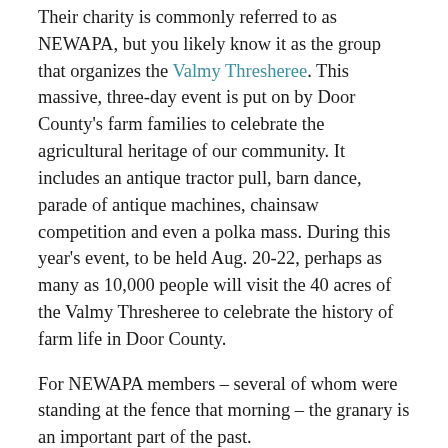Their charity is commonly referred to as NEWAPA, but you likely know it as the group that organizes the Valmy Thresheree. This massive, three-day event is put on by Door County's farm families to celebrate the agricultural heritage of our community. It includes an antique tractor pull, barn dance, parade of antique machines, chainsaw competition and even a polka mass. During this year's event, to be held Aug. 20-22, perhaps as many as 10,000 people will visit the 40 acres of the Valmy Thresheree to celebrate the history of farm life in Door County.
For NEWAPA members – several of whom were standing at the fence that morning – the granary is an important part of the past.
Don Rudolph, one of NEWAPA's officers, later told me